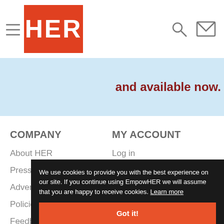HER (logo) — navigation header with hamburger menu, search icon, envelope icon
[Figure (screenshot): Light blue banner strip with partial red bold text reading 'and available now.']
COMPANY
MY ACCOUNT
About HER
Log in
Press
Register
Advertise
Policies
Feedback
We use cookies to provide you with the best experience on our site. If you continue using EmpowHER we will assume that you are happy to receive cookies. Learn more
Got it!